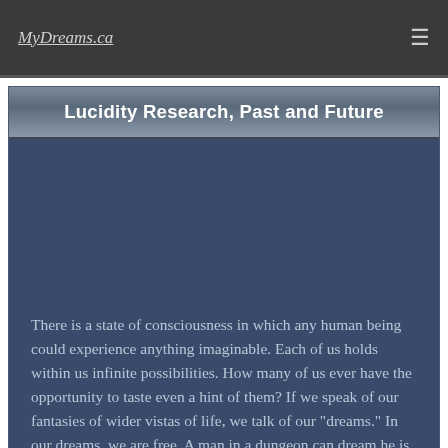MyDreams.ca
Lucidity Research, Past and Future
There is a state of consciousness in which any human being could experience anything imaginable. Each of us holds within us infinite possibilities. How many of us ever have the opportunity to taste even a hint of them? If we speak of our fantasies of wider vistas of life, we talk of our "dreams." In our dreams, we are free. A man in a dungeon can dream he is a king in a castle, and while he dreams, it is so.